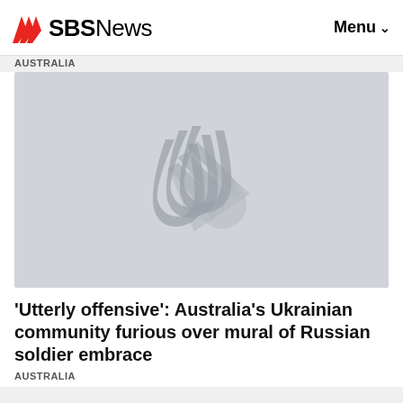Hasbulla has touched down in Australia. Who is he and why is he a true sensation?
SBS News  Menu
AUSTRALIA
[Figure (photo): Gray placeholder image with SBS logo watermark in center]
'Utterly offensive': Australia's Ukrainian community furious over mural of Russian soldier embrace
AUSTRALIA